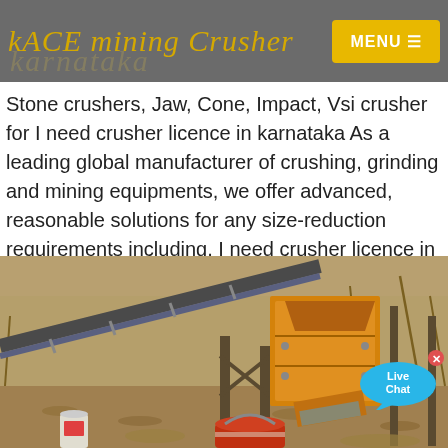ACE mining Crusher  MENU
Stone crushers, Jaw, Cone, Impact, Vsi crusher for I need crusher licence in karnataka As a leading global manufacturer of crushing, grinding and mining equipments, we offer advanced, reasonable solutions for any size-reduction requirements including, I need crusher licence in karnataka...
Contact us
[Figure (photo): Mining crusher equipment photo showing a conveyor belt, yellow hopper/crusher machine, and industrial site with excavated ground, bucket/paint can in foreground.]